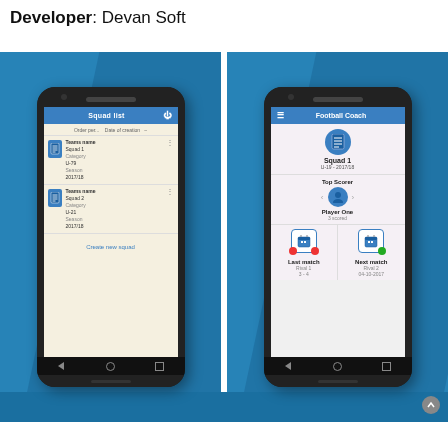Developer: Devan Soft
[Figure (screenshot): Two Android phone screenshots side by side on blue background. Left phone shows 'Squad list' screen with two squad entries (Squad 1: U-19, 2017/18 and Squad 2: U-21, 2017/18) and a 'Create new squad' button. Right phone shows 'Football Coach' app main screen with Squad 1 info, Top Scorer (Player One, 3 scored), Last match (Rival 1, 3-4) and Next match (Rival 2, 04-10-2017).]